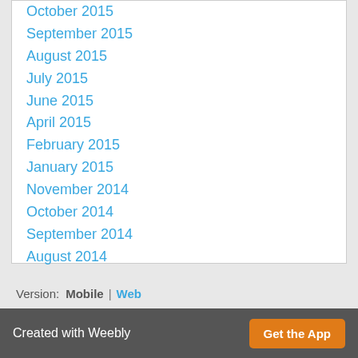October 2015
September 2015
August 2015
July 2015
June 2015
April 2015
February 2015
January 2015
November 2014
October 2014
September 2014
August 2014
Categories
All
RSS Feed
Version:  Mobile | Web
Created with Weebly  Get the App